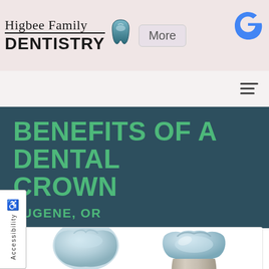Higbee Family Dentistry
BENEFITS OF A DENTAL CROWN
EUGENE, OR
[Figure (illustration): 3D illustration of dental crowns — two ceramic crown caps (light blue/silver) shown separately and one placed on a tooth molar model]